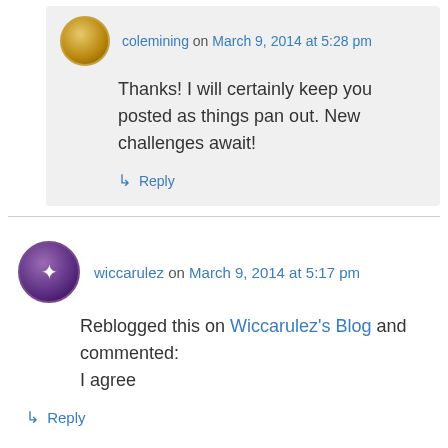colemining on March 9, 2014 at 5:28 pm
Thanks! I will certainly keep you posted as things pan out. New challenges await!
↳ Reply
wiccarulez on March 9, 2014 at 5:17 pm
Reblogged this on Wiccarulez's Blog and commented: I agree
↳ Reply
colemining on March 9, 2014 at 5:26 pm